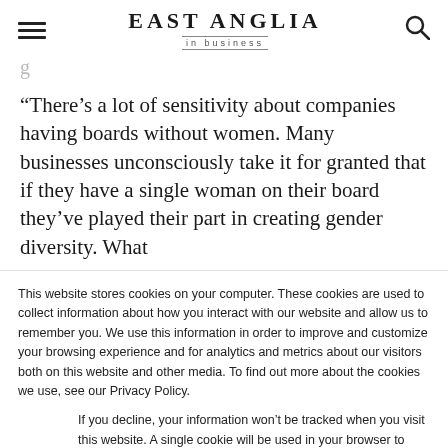EAST ANGLIA in business
g
“There’s a lot of sensitivity about companies having boards without women. Many businesses unconsciously take it for granted that if they have a single woman on their board they’ve played their part in creating gender diversity. What
This website stores cookies on your computer. These cookies are used to collect information about how you interact with our website and allow us to remember you. We use this information in order to improve and customize your browsing experience and for analytics and metrics about our visitors both on this website and other media. To find out more about the cookies we use, see our Privacy Policy.
If you decline, your information won’t be tracked when you visit this website. A single cookie will be used in your browser to remember your preference not to be tracked.